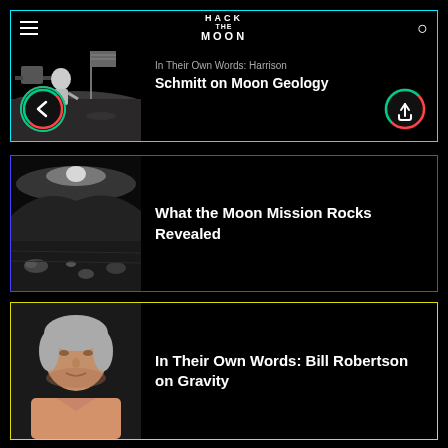[Figure (screenshot): App screen showing Hack the Moon website with three content cards]
In Their Own Words: Harrison Schmitt on Moon Geology
[Figure (photo): Black and white photo of lunar surface with rocks and hills]
What the Moon Mission Rocks Revealed
[Figure (photo): Photo of older man with grey hair in pink shirt]
In Their Own Words: Bill Robertson on Gravity